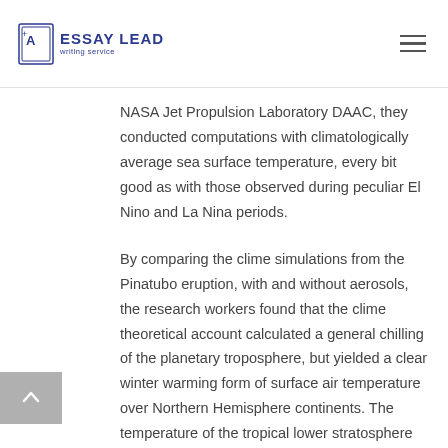ESSAY LEAD writing service
NASA Jet Propulsion Laboratory DAAC, they conducted computations with climatologically average sea surface temperature, every bit good as with those observed during peculiar El Nino and La Nina periods.
By comparing the clime simulations from the Pinatubo eruption, with and without aerosols, the research workers found that the clime theoretical account calculated a general chilling of the planetary troposphere, but yielded a clear winter warming form of surface air temperature over Northern Hemisphere continents. The temperature of the tropical lower stratosphere increased by 4 Kelvin ( 4A°C